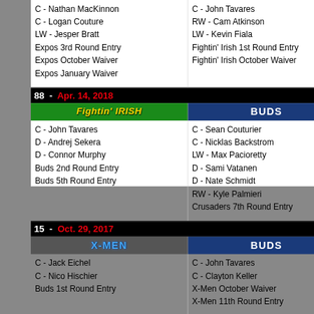| Expos / Fightin' Irish | Fightin' Irish / Expos |
| --- | --- |
| C - Nathan MacKinnon | C - John Tavares |
| C - Logan Couture | RW - Cam Atkinson |
| LW - Jesper Bratt | LW - Kevin Fiala |
| Expos 3rd Round Entry | Fightin' Irish 1st Round Entry |
| Expos October Waiver | Fightin' Irish October Waiver |
| Expos January Waiver |  |
88 - Apr. 14, 2018
| Fightin' IRISH | BUDS |
| --- | --- |
| C - John Tavares | C - Sean Couturier |
| D - Andrej Sekera | C - Nicklas Backstrom |
| D - Connor Murphy | LW - Max Pacioretty |
| Buds 2nd Round Entry | D - Sami Vatanen |
| Buds 5th Round Entry | D - Nate Schmidt |
|  | RW - Kyle Palmieri |
|  | Crusaders 7th Round Entry |
15 - Oct. 29, 2017
| X-MEN | BUDS |
| --- | --- |
| C - Jack Eichel | C - John Tavares |
| C - Nico Hischier | C - Clayton Keller |
| Buds 1st Round Entry | X-Men October Waiver |
|  | X-Men 11th Round Entry |
33 - Dec. 10, 2016
| GRUMPYS | OUTLAWS |
| --- | --- |
| LW - Jimmy Vesey | C - John Tavares |